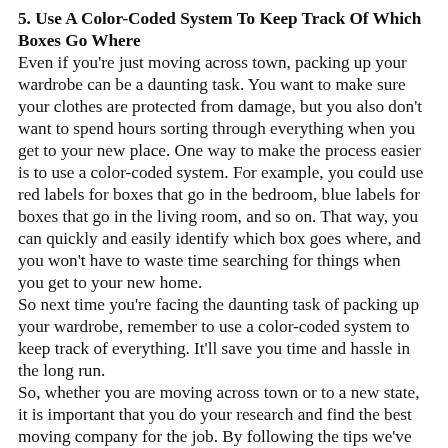5. Use A Color-Coded System To Keep Track Of Which Boxes Go Where
Even if you're just moving across town, packing up your wardrobe can be a daunting task. You want to make sure your clothes are protected from damage, but you also don't want to spend hours sorting through everything when you get to your new place. One way to make the process easier is to use a color-coded system. For example, you could use red labels for boxes that go in the bedroom, blue labels for boxes that go in the living room, and so on. That way, you can quickly and easily identify which box goes where, and you won't have to waste time searching for things when you get to your new home.
So next time you're facing the daunting task of packing up your wardrobe, remember to use a color-coded system to keep track of everything. It'll save you time and hassle in the long run.
So, whether you are moving across town or to a new state, it is important that you do your research and find the best moving company for the job. By following the tips we've provided in this article, you should be able to find a reputable company that will take care of all your needs and get your move done quickly and efficiently.
Are there any other things you look for before hiring a moving company? Let us know in the comments below!